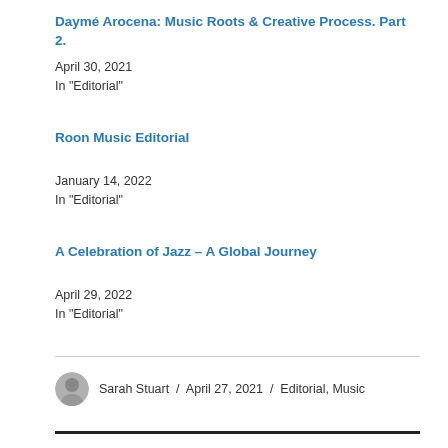Daymé Arocena: Music Roots & Creative Process. Part 2.
April 30, 2021
In "Editorial"
Roon Music Editorial
January 14, 2022
In "Editorial"
A Celebration of Jazz – A Global Journey
April 29, 2022
In "Editorial"
Sarah Stuart / April 27, 2021 / Editorial, Music